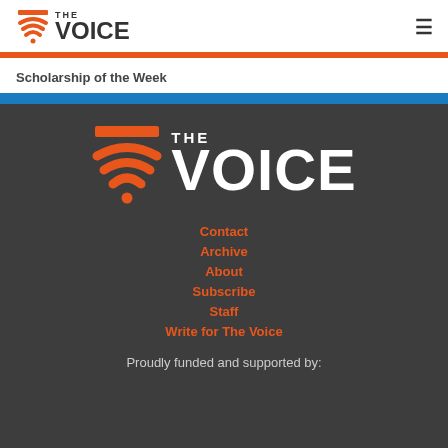THE VOICE
Scholarship of the Week
[Figure (logo): The Voice logo large on dark background with orange wifi-style icon]
Contact
Archive
About
Subscribe
Staff
Write for The Voice
Proudly funded and supported by: